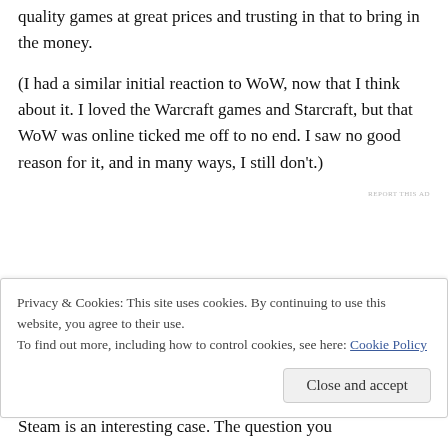quality games at great prices and trusting in that to bring in the money.
(I had a similar initial reaction to WoW, now that I think about it. I loved the Warcraft games and Starcraft, but that WoW was online ticked me off to no end. I saw no good reason for it, and in many ways, I still don't.)
REPORT THIS AD
Privacy & Cookies: This site uses cookies. By continuing to use this website, you agree to their use.
To find out more, including how to control cookies, see here: Cookie Policy
Close and accept
Steam is an interesting case. The question you